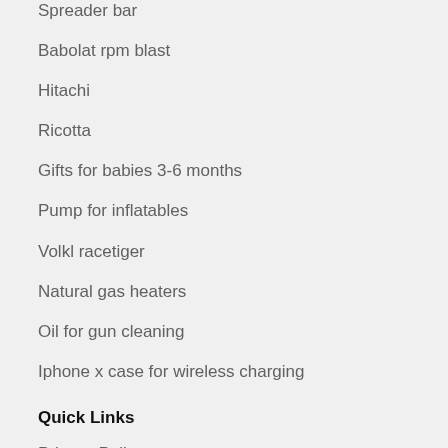Spreader bar
Babolat rpm blast
Hitachi
Ricotta
Gifts for babies 3-6 months
Pump for inflatables
Volkl racetiger
Natural gas heaters
Oil for gun cleaning
Iphone x case for wireless charging
Quick Links
Privacy Policy
Terms of Use